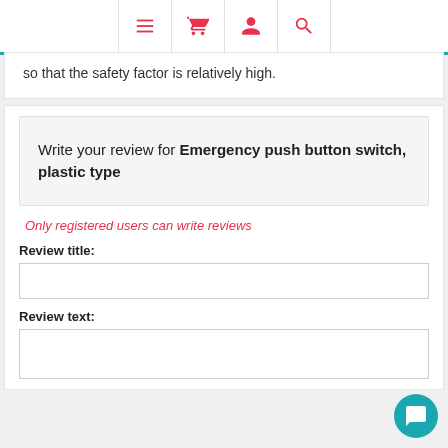[Navigation icons: menu, basket, user, search]
so that the safety factor is relatively high.
Write your review for Emergency push button switch, plastic type
Only registered users can write reviews
Review title:
Review text: